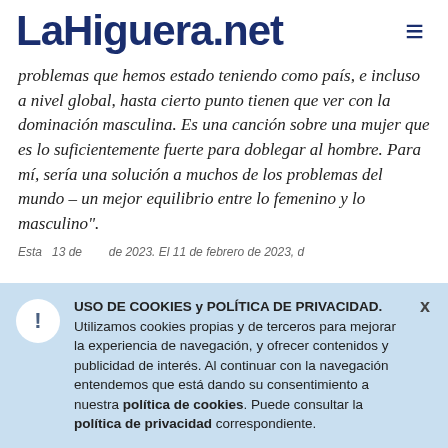LaHiguera.net ≡
problemas que hemos estado teniendo como país, e incluso a nivel global, hasta cierto punto tienen que ver con la dominación masculina. Es una canción sobre una mujer que es lo suficientemente fuerte para doblegar al hombre. Para mí, sería una solución a muchos de los problemas del mundo – un mejor equilibrio entre lo femenino y lo masculino".
USO DE COOKIES y POLÍTICA DE PRIVACIDAD. Utilizamos cookies propias y de terceros para mejorar la experiencia de navegación, y ofrecer contenidos y publicidad de interés. Al continuar con la navegación entendemos que está dando su consentimiento a nuestra política de cookies. Puede consultar la política de privacidad correspondiente.